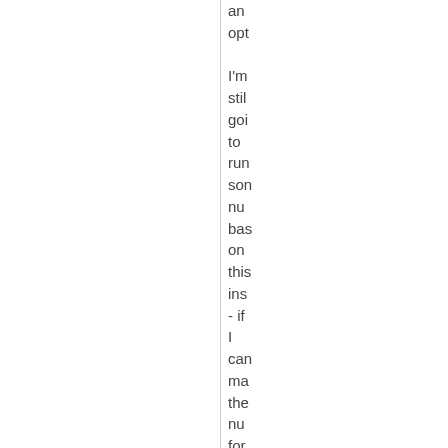an opt I'm still goi to run som nu bas on this ins - if I can ma the nu for 40 iter line up